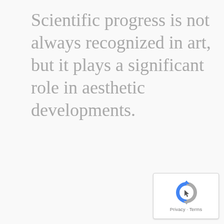Scientific progress is not always recognized in art, but it plays a significant role in aesthetic developments.
[Figure (logo): reCAPTCHA badge with circular arrow icon and 'Privacy · Terms' text]